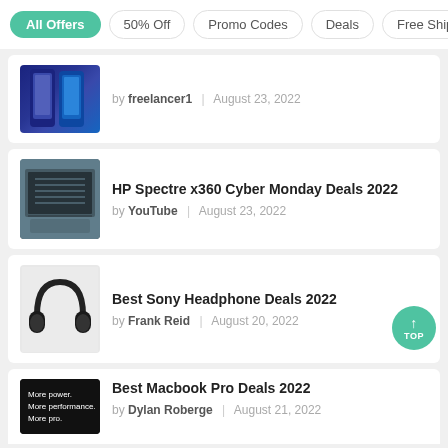All Offers | 50% Off | Promo Codes | Deals | Free Shipping
by freelancer1 | August 23, 2022
HP Spectre x360 Cyber Monday Deals 2022
by YouTube | August 23, 2022
Best Sony Headphone Deals 2022
by Frank Reid | August 20, 2022
Best Macbook Pro Deals 2022
by Dylan Roberge | August 21, 2022